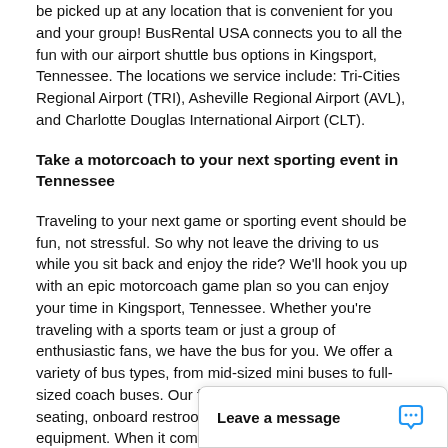be picked up at any location that is convenient for you and your group! BusRental USA connects you to all the fun with our airport shuttle bus options in Kingsport, Tennessee. The locations we service include: Tri-Cities Regional Airport (TRI), Asheville Regional Airport (AVL), and Charlotte Douglas International Airport (CLT).
Take a motorcoach to your next sporting event in Tennessee
Traveling to your next game or sporting event should be fun, not stressful. So why not leave the driving to us while you sit back and enjoy the ride? We'll hook you up with an epic motorcoach game plan so you can enjoy your time in Kingsport, Tennessee. Whether you're traveling with a sports team or just a group of enthusiastic fans, we have the bus for you. We offer a variety of bus types, from mid-sized mini buses to full-sized coach buses. Our fleet features comfortable seating, onboard restrooms, and plenty of room for your equipment. When it comes to booking transportation for a sports team, we've got you covered! Bus Rental has provided safe and reliable ground transportation for many professional sports teams over the years. Our experienced team is familiar with the unique needs of sports tea... goes off without a hitch. Fr...